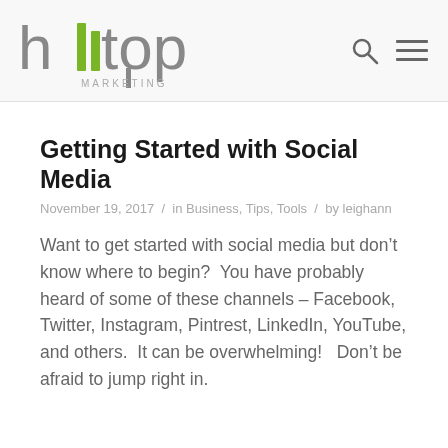hilltop MARKETING
Getting Started with Social Media
November 19, 2017 / in Business, Tips, Tools / by leighann
Want to get started with social media but don't know where to begin?  You have probably heard of some of these channels – Facebook, Twitter, Instagram, Pintrest, LinkedIn, YouTube, and others.  It can be overwhelming!   Don't be afraid to jump right in.